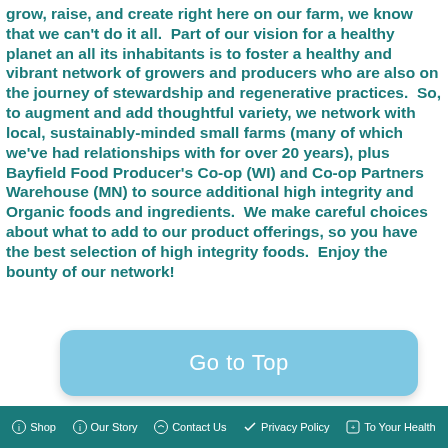grow, raise, and create right here on our farm, we know that we can't do it all.  Part of our vision for a healthy planet an all its inhabitants is to foster a healthy and vibrant network of growers and producers who are also on the journey of stewardship and regenerative practices.  So, to augment and add thoughtful variety, we network with local, sustainably-minded small farms (many of which we've had relationships with for over 20 years), plus Bayfield Food Producer's Co-op (WI) and Co-op Partners Warehouse (MN) to source additional high integrity and Organic foods and ingredients.  We make careful choices about what to add to our product offerings, so you have the best selection of high integrity foods.  Enjoy the bounty of our network!
[Figure (other): A light blue rounded button with white text reading 'Go to Top']
Shop | Our Story | Contact Us | Privacy Policy | To Your Health